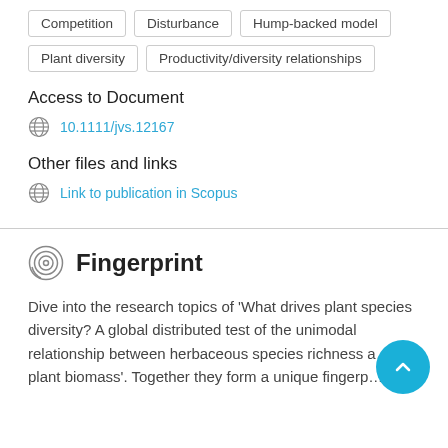Competition
Disturbance
Hump-backed model
Plant diversity
Productivity/diversity relationships
Access to Document
10.1111/jvs.12167
Other files and links
Link to publication in Scopus
Fingerprint
Dive into the research topics of 'What drives plant species diversity? A global distributed test of the unimodal relationship between herbaceous species richness and plant biomass'. Together they form a unique fingerp…